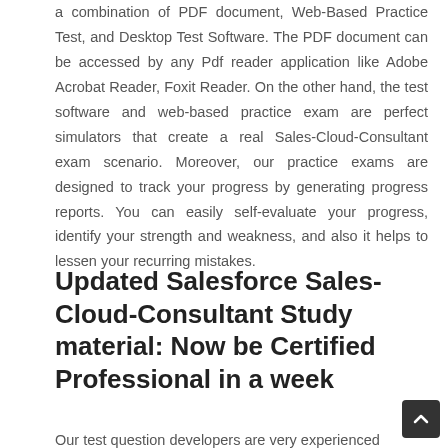a combination of PDF document, Web-Based Practice Test, and Desktop Test Software. The PDF document can be accessed by any Pdf reader application like Adobe Acrobat Reader, Foxit Reader. On the other hand, the test software and web-based practice exam are perfect simulators that create a real Sales-Cloud-Consultant exam scenario. Moreover, our practice exams are designed to track your progress by generating progress reports. You can easily self-evaluate your progress, identify your strength and weakness, and also it helps to lessen your recurring mistakes.
Updated Salesforce Sales-Cloud-Consultant Study material: Now be Certified Professional in a week
Our test question developers are very experienced